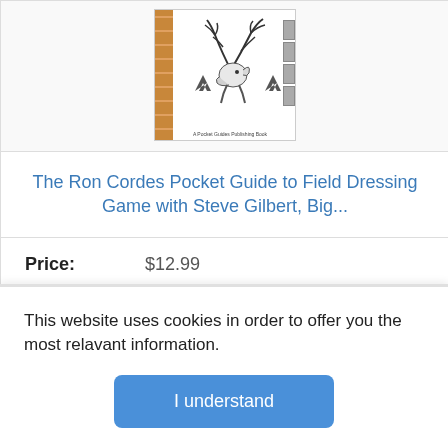[Figure (photo): Book cover image of The Ron Cordes Pocket Guide to Field Dressing Game, spiral-bound notebook with elk illustration and publisher credit 'A Pocket Guides Publishing Book']
The Ron Cordes Pocket Guide to Field Dressing Game with Steve Gilbert, Big...
Price: $12.99
View Current Price
This website uses cookies in order to offer you the most relavant information.
I understand